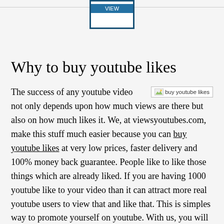[Figure (screenshot): A button/widget showing a blue VIEW button inside a bordered white box, at the top center of the page, with a horizontal rule border]
Why to buy youtube likes
[Figure (photo): Image placeholder showing 'buy youtube likes' with a small image icon]
The success of any youtube video not only depends upon how much views are there but also on how much likes it. We, at viewsyoutubes.com, make this stuff much easier because you can buy youtube likes at very low prices, faster delivery and 100% money back guarantee. People like to like those things which are already liked. If you are having 1000 youtube like to your video than it can attract more real youtube users to view that and like that. This is simples way to promote yourself on youtube. With us, you will feel secure, because your video is going to be the master in a few days.
Whether you are a musician, artist, VJ, singer, business person, blogger or any other who have some online business how are in need of some high quality bulk youtube likes. Viral marketing is the best choice for you. In this, you can get thousands or millions of likes within a very short